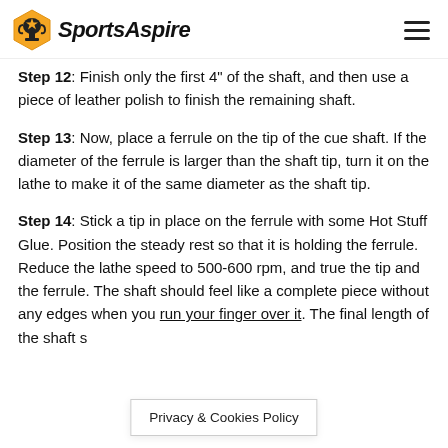SportsAspire
Step 12: Finish only the first 4" of the shaft, and then use a piece of leather polish to finish the remaining shaft.
Step 13: Now, place a ferrule on the tip of the cue shaft. If the diameter of the ferrule is larger than the shaft tip, turn it on the lathe to make it of the same diameter as the shaft tip.
Step 14: Stick a tip in place on the ferrule with some Hot Stuff Glue. Position the steady rest so that it is holding the ferrule. Reduce the lathe speed to 500-600 rpm, and true the tip and the ferrule. The shaft should feel like a complete piece without any edges when you run your finger over it. The final length of the shaft s
Privacy & Cookies Policy